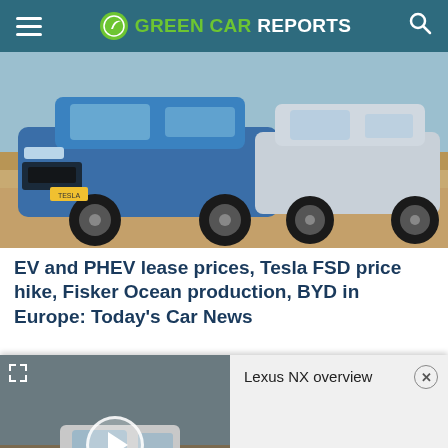GREEN CAR REPORTS
[Figure (photo): Two electric SUVs side by side on a desert landscape: a blue BYD/Fisker-type SUV on the left and a lighter silver SUV on the right]
EV and PHEV lease prices, Tesla FSD price hike, Fisker Ocean production, BYD in Europe: Today's Car News
[Figure (screenshot): Video overlay showing a silver Lexus NX SUV driving with a play button. Title reads: Lexus NX overview]